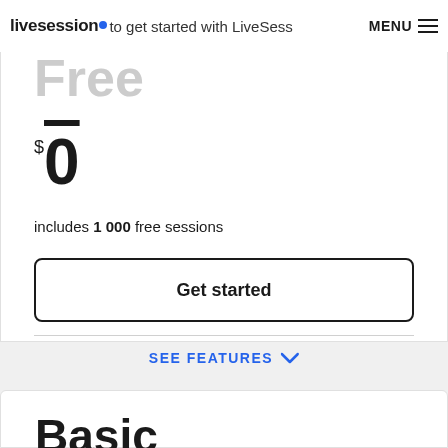livesession · to get started with LiveSession MENU ☰
Free
$0
includes 1 000 free sessions
Get started
SEE FEATURES ∨
Basic
For small teams and early-stage startups